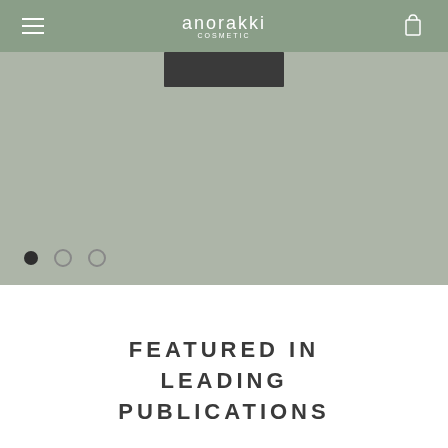anorakki
[Figure (screenshot): Hero image area with sage/muted green-gray background, a dark rectangular bar near the top center, and three pagination dots at the bottom left (first dot filled/active, second and third empty/inactive).]
FEATURED IN LEADING PUBLICATIONS